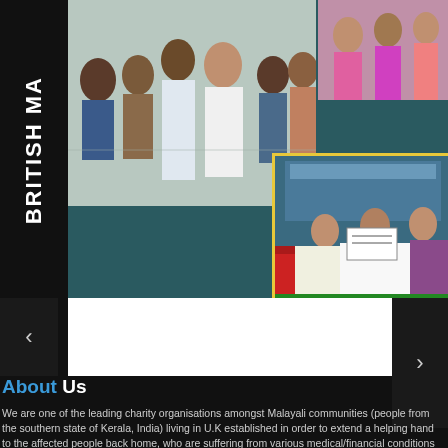[Figure (photo): Collage of photos: main photo showing a group of people in a community setting with a man in white distributing something, top-right shows people in colorful attire, bottom-right shows a formal ceremony with people holding a certificate/check on a stage with red draping]
About Us
We are one of the leading charity organisations amongst Malayali communities (people from the southern state of Kerala, India) living in U.K established in order to extend a helping hand to the affected people back home, who are suffering from various medical/financial conditions from time to time [Read More]
Important Links